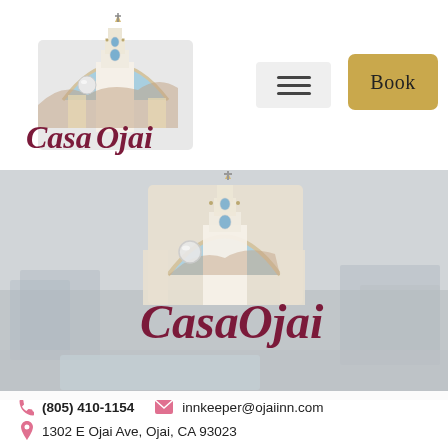[Figure (logo): Casa Ojai logo with Spanish mission bell tower illustration and dark red serif text reading CASA OJAI]
[Figure (other): Hamburger menu button (three horizontal lines) on light gray background]
[Figure (other): Gold/tan Book button]
[Figure (photo): Hero section with blurred outdoor photo of Casa Ojai property, overlaid with large Casa Ojai logo (bell tower illustration and dark red CASA OJAI text)]
(805) 410-1154
innkeeper@ojaiinn.com
1302 E Ojai Ave, Ojai, CA 93023